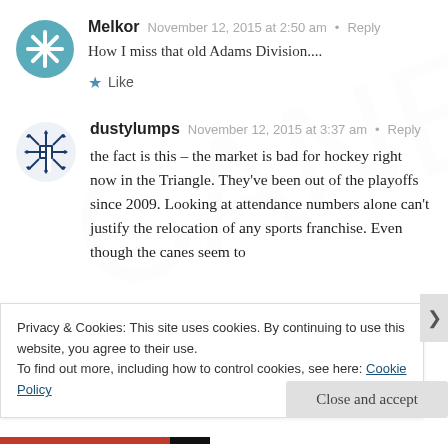Melkor  November 12, 2015 at 2:50 am · Reply
How I miss that old Adams Division....
★ Like
dustylumps  November 12, 2015 at 3:37 am · Reply
the fact is this – the market is bad for hockey right now in the Triangle. They've been out of the playoffs since 2009. Looking at attendance numbers alone can't justify the relocation of any sports franchise. Even though the canes seem to
Privacy & Cookies: This site uses cookies. By continuing to use this website, you agree to their use.
To find out more, including how to control cookies, see here: Cookie Policy
Close and accept